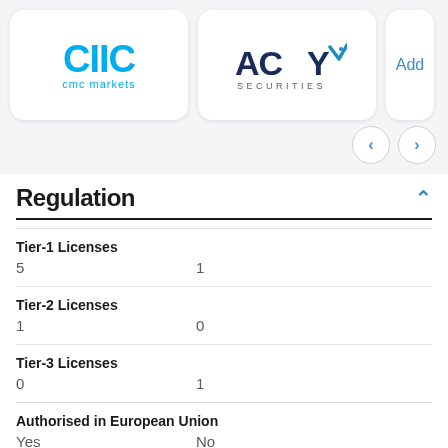[Figure (logo): CMC Markets logo — stylized 'CIIC' text in cyan/blue with 'cmc markets' below]
[Figure (logo): ACY Securities logo — 'ACY' in dark navy with arrow and 'SECURITIES' below]
Add
Regulation
|  | CMC Markets | ACY Securities |
| --- | --- | --- |
| Tier-1 Licenses | 5 | 1 |
| Tier-2 Licenses | 1 | 0 |
| Tier-3 Licenses | 0 | 1 |
| Authorised in European Union | Yes | No |